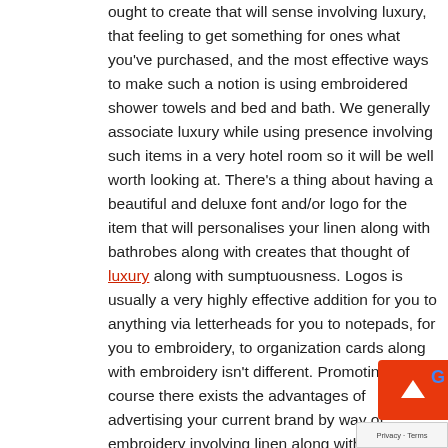ought to create that will sense involving luxury, that feeling to get something for ones what you've purchased, and the most effective ways to make such a notion is using embroidered shower towels and bed and bath. We generally associate luxury while using presence involving such items in a very hotel room so it will be well worth looking at. There's a thing about having a beautiful and deluxe font and/or logo for the item that will personalises your linen along with bathrobes along with creates that thought of luxury along with sumptuousness. Logos is usually a very highly effective addition for you to anything via letterheads for you to notepads, for you to embroidery, to organization cards along with embroidery isn't different. Promoting: Of course there exists the advantages of advertising your current brand by way of embroidery involving linen along with bathrobes. By doing this, you make sure people don't forget where they are staying plus your hotel. Naturally, there is actually chance that your particular robes may possibly go mis...